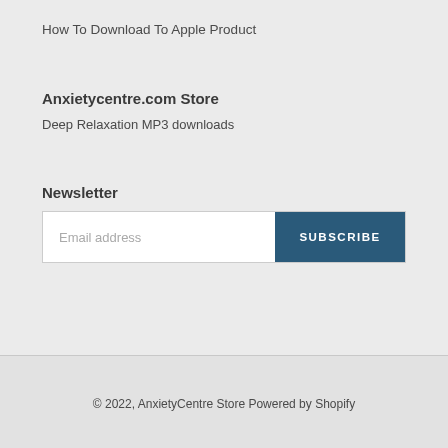How To Download To Apple Product
Anxietycentre.com Store
Deep Relaxation MP3 downloads
Newsletter
Email address
SUBSCRIBE
© 2022, AnxietyCentre Store Powered by Shopify